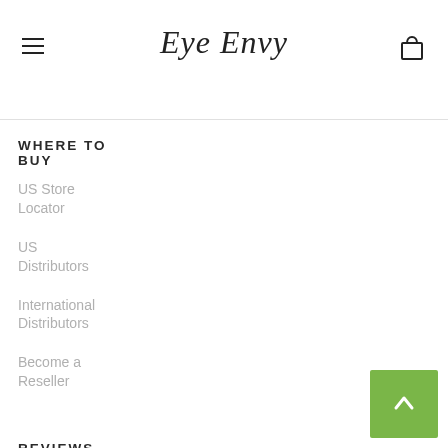Eye Envy
WHERE TO BUY
US Store Locator
US Distributors
International Distributors
Become a Reseller
REVIEWS
Before & Af...